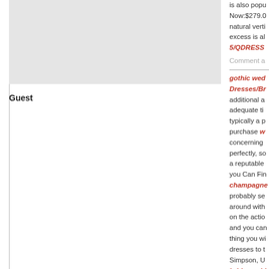[Figure (photo): Gray placeholder image box in middle column]
Guest
is also popu... Now:$279.0... natural verti... excess is al... 5/QDRESS... Comment a...
gothic wed... Dresses/Br... additional a... adequate ti... typically a p... purchase w... concerning ... perfectly, so... a reputable ... you Can Fin... champagne... probably se... around with... on the actio... and you can... thing you wi... dresses to t... Simpson, U... bridesmaids... (yes, really,... goes beyon... out of reach... store Prince... affordable, ... privately-he... David's own...
Guest
Comment a...